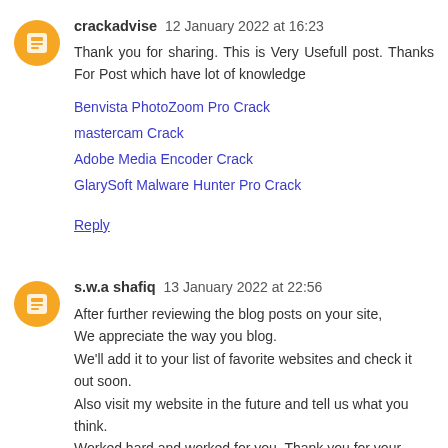crackadvise 12 January 2022 at 16:23
Thank you for sharing. This is Very Usefull post. Thanks For Post which have lot of knowledge
Benvista PhotoZoom Pro Crack
mastercam Crack
Adobe Media Encoder Crack
GlarySoft Malware Hunter Pro Crack
Reply
s.w.a shafiq 13 January 2022 at 22:56
After further reviewing the blog posts on your site, We appreciate the way you blog. We'll add it to your list of favorite websites and check it out soon. Also visit my website in the future and tell us what you think. Worked hard and worked for you. Thank you for your work.